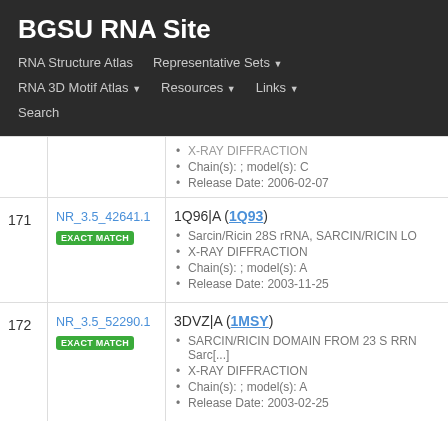BGSU RNA Site
RNA Structure Atlas
Representative Sets
RNA 3D Motif Atlas
Resources
Links
Search
| # | ID | Info |
| --- | --- | --- |
|  |  | X-RAY DIFFRACTION
Chain(s): ; model(s): C
Release Date: 2006-02-07 |
| 171 | NR_3.5_42641.1 EXACT MATCH | 1Q96|A (1Q93)
Sarcin/Ricin 28S rRNA, SARCIN/RICIN LO
X-RAY DIFFRACTION
Chain(s): ; model(s): A
Release Date: 2003-11-25 |
| 172 | NR_3.5_52290.1 EXACT MATCH | 3DVZ|A (1MSY)
SARCIN/RICIN DOMAIN FROM 23 S RRN Sarc[...]
X-RAY DIFFRACTION
Chain(s): ; model(s): A
Release Date: 2003-02-25 |